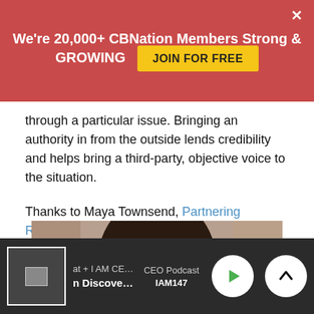We're 20,000+ CBNation Members Strong & GROWING  JOIN FOR FREE
through a particular issue. Bringing an authority in from the outside lends credibility and helps bring a third-party, objective voice to the situation.
Thanks to Maya Townsend, Partnering Resources
[Figure (photo): Portrait photo of Maya Townsend, a woman with long dark hair, facing the camera.]
at + I AM CEO Podcasts   CEO Podcast   n Discovering Yourself   IAM147